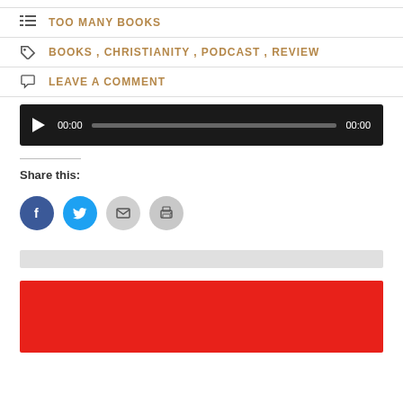TOO MANY BOOKS
BOOKS , CHRISTIANITY , PODCAST , REVIEW
LEAVE A COMMENT
[Figure (other): Audio player widget with play button, time display 00:00, progress bar, and end time 00:00 on dark background]
Share this:
[Figure (other): Share buttons: Facebook (blue circle), Twitter (blue circle), Email (gray circle), Print (gray circle)]
[Figure (other): Gray horizontal bar]
[Figure (other): Red rectangular block at bottom of page]